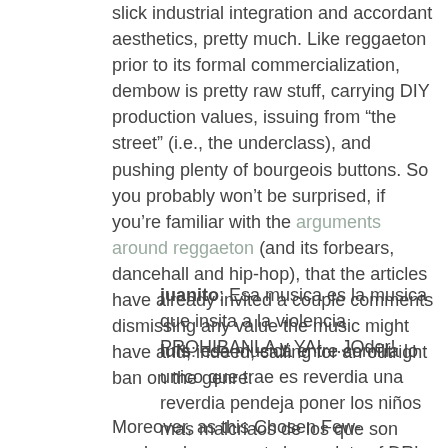slick industrial integration and accordant aesthetics, pretty much. Like reggaeton prior to its formal commercialization, dembow is pretty raw stuff, carrying DIY production values, issuing from “the street” (i.e., the underclass), and pushing plenty of bourgeois buttons. So you probably won’t be surprised, if you’re familiar with the arguments around reggaeton (and its forbears, dancehall and hip-hop), that the articles have already invited a couple comments dismissing any value the music might have and, indeed, calling for an outright ban on the genre:
juanito: Esa musica es la musica que insita a la violencia PROHIBANLA y YA!....JOder!
luis: esa musica entre comilla lo unico que trae es reverdia una reverdia pendeja poner los niños mas malcriaos de los que son gran musica no la ponga y ya denle banda a eso
Moreover, as this Chosen Few-produced posse cut shows, lots of DR’s dembow stars are also happy getting down with comtemporary reggaeton style (that is, “con adornos de...